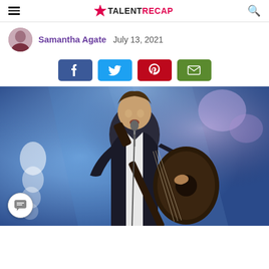TALENTRECAP
Samantha Agate  July 13, 2021
[Figure (other): Social share buttons: Facebook, Twitter, Pinterest, Email]
[Figure (photo): A young man in a dark suit playing acoustic guitar and singing into a microphone on a stage with blue and purple stage lighting]